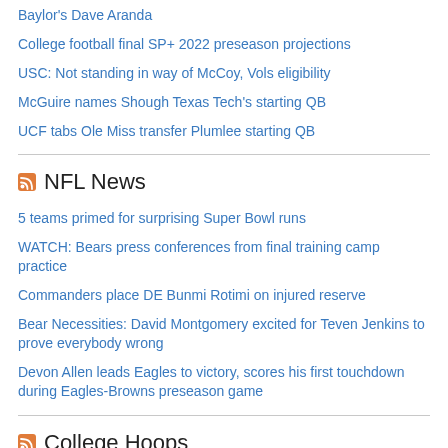Baylor's Dave Aranda
College football final SP+ 2022 preseason projections
USC: Not standing in way of McCoy, Vols eligibility
McGuire names Shough Texas Tech's starting QB
UCF tabs Ole Miss transfer Plumlee starting QB
NFL News
5 teams primed for surprising Super Bowl runs
WATCH: Bears press conferences from final training camp practice
Commanders place DE Bunmi Rotimi on injured reserve
Bear Necessities: David Montgomery excited for Teven Jenkins to prove everybody wrong
Devon Allen leads Eagles to victory, scores his first touchdown during Eagles-Browns preseason game
College Hoops
Men's college basketball Coaches Consensus rankings for 2022-23